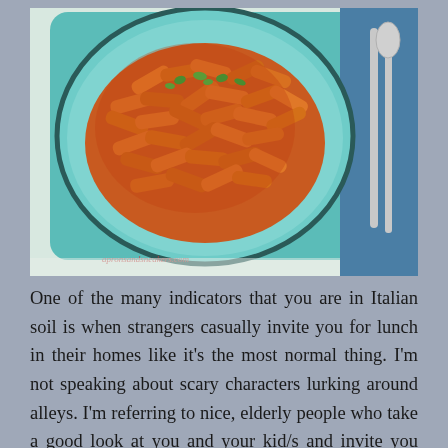[Figure (photo): Overhead photo of a teal/light blue square plate holding a bowl of penne pasta with red tomato sauce and fresh herbs, alongside a fork and spoon on a blue patterned napkin. Watermark reads apronsandsneakers.com.]
One of the many indicators that you are in Italian soil is when strangers casually invite you for lunch in their homes like it's the most normal thing.  I'm not speaking about scary characters lurking around alleys.  I'm referring to nice, elderly people who take a good look at you and your kid/s and invite you over for lunch to cook a mean, classic pasta dish.   It makes you feel like the world is still a good place to